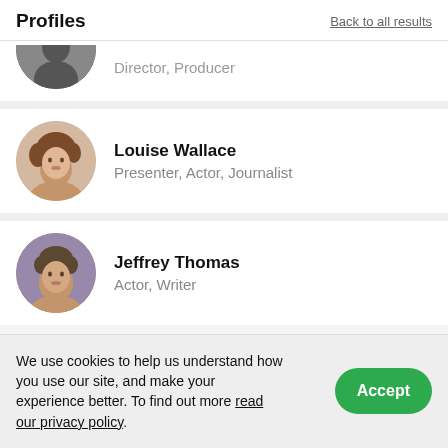Profiles
Back to all results
Director, Producer
[Figure (photo): Circular avatar photo of Louise Wallace, a woman with short brown hair]
Louise Wallace
Presenter, Actor, Journalist
[Figure (photo): Circular avatar photo of Jeffrey Thomas, a man with short hair]
Jeffrey Thomas
Actor, Writer
We use cookies to help us understand how you use our site, and make your experience better. To find out more read our privacy policy.